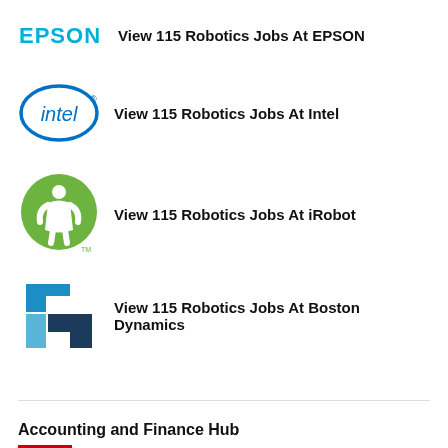View 115 Robotics Jobs At EPSON
View 115 Robotics Jobs At Intel
View 115 Robotics Jobs At iRobot
View 115 Robotics Jobs At Boston Dynamics
Accounting and Finance Hub